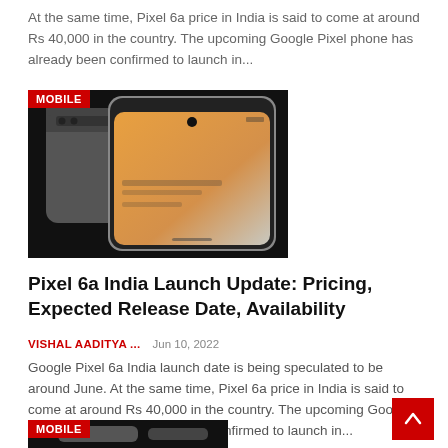At the same time, Pixel 6a price in India is said to come at around Rs 40,000 in the country. The upcoming Google Pixel phone has already been confirmed to launch in...
[Figure (photo): Google Pixel 6a smartphones shown against a dark background, with a MOBILE badge in the top-left corner]
Pixel 6a India Launch Update: Pricing, Expected Release Date, Availability
VISHAL AADITYA ...   Jun 10, 2022
Google Pixel 6a India launch date is being speculated to be around June. At the same time, Pixel 6a price in India is said to come at around Rs 40,000 in the country. The upcoming Google Pixel phone has already been confirmed to launch in...
[Figure (photo): Partial view of Google Pixel phone against dark background with MOBILE badge]